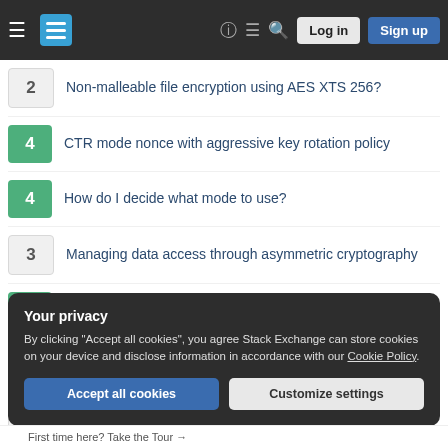Navigation bar with hamburger menu, Stack Exchange logo, help, chat, search icons, Log in and Sign up buttons
2 — Non-malleable file encryption using AES XTS 256?
4 — CTR mode nonce with aggressive key rotation policy
4 — How do I decide what mode to use?
3 — Managing data access through asymmetric cryptography
2 — Double-CBC as AES-KW Substitute?
0 — EAX vs CTR vs XTS + cascade ciphers in disk encryption hell
0 — Should I be worried about XTS tampering when encrypting backups using VeraCrypt?
Your privacy
By clicking "Accept all cookies", you agree Stack Exchange can store cookies on your device and disclose information in accordance with our Cookie Policy.
Accept all cookies | Customize settings